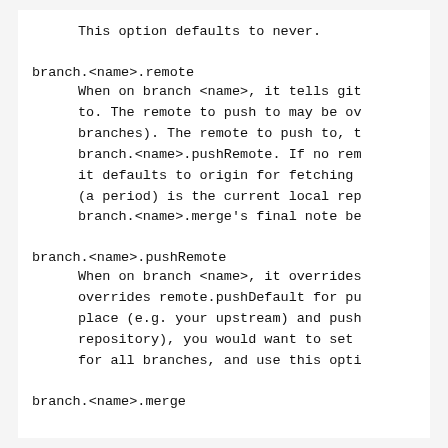This option defaults to never.
branch.<name>.remote
When on branch <name>, it tells git to. The remote to push to may be ov branches). The remote to push to, t branch.<name>.pushRemote. If no rem it defaults to origin for fetching (a period) is the current local rep branch.<name>.merge's final note be
branch.<name>.pushRemote
When on branch <name>, it overrides overrides remote.pushDefault for pu place (e.g. your upstream) and push repository), you would want to set for all branches, and use this opti
branch.<name>.merge